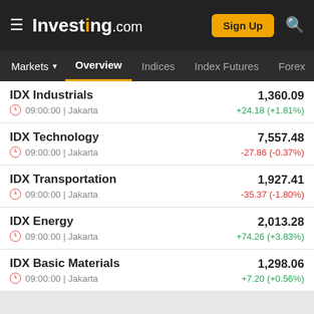Investing.com — Sign Up
Markets ▼  Overview  Indices  Index Futures  Forex
IDX Industrials | 1,360.09 | +24.18 (+1.81%) | 09:00:00 | Jakarta
IDX Technology | 7,557.48 | -27.86 (-0.37%) | 09:00:00 | Jakarta
IDX Transportation | 1,927.41 | -35.37 (-1.80%) | 09:00:00 | Jakarta
IDX Energy | 2,013.28 | +74.26 (+3.83%) | 09:00:00 | Jakarta
IDX Basic Materials | 1,298.06 | +7.20 (+0.56%) | 09:00:00 | Jakarta